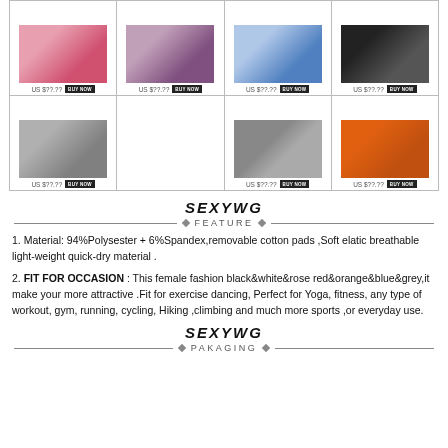[Figure (other): Product grid showing 8 sportswear/activewear items in two rows of 4 with prices US $??.?? and Buy Now buttons]
SEXYWG
FEATURE
1. Material: 94%Polysester + 6%Spandex,removable cotton pads ,Soft elatic breathable light-weight quick-dry material .
2. FIT FOR OCCASION : This female fashion black&white&rose red&orange&blue&grey,it make your more attractive .Fit for exercise dancing, Perfect for Yoga, fitness, any type of workout, gym, running, cycling, Hiking ,climbing and much more sports ,or everyday use.
SEXYWG
PAKAGING